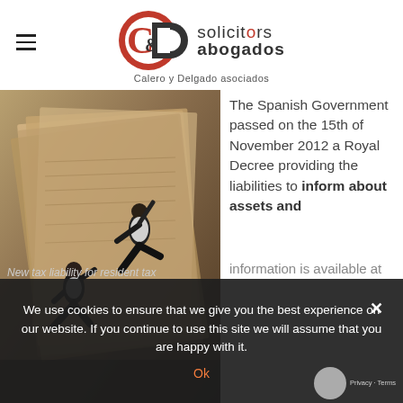[Figure (logo): C&D Solicitors Abogados - Calero y Delgado asociados logo with red and black circular C&D emblem]
[Figure (photo): Two businesspeople climbing a large pile of documents/paperwork, symbolizing tax burden or bureaucracy]
The Spanish Government passed on the 15th of November 2012 a Royal Decree providing the liabilities to inform about assets and rights located abroad. This information is available at
We use cookies to ensure that we give you the best experience on our website. If you continue to use this site we will assume that you are happy with it.
Ok
New tax liability for resident tax